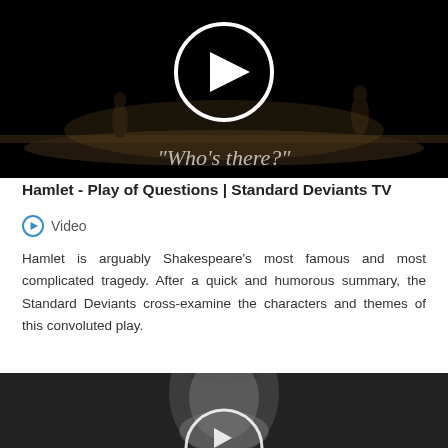[Figure (screenshot): Video thumbnail showing a dark theater stage with two silhouetted figures and the text "Who's there?" with a circular play button overlay]
Hamlet - Play of Questions | Standard Deviants TV
Video
Hamlet is arguably Shakespeare's most famous and most complicated tragedy. After a quick and humorous summary, the Standard Deviants cross-examine the characters and themes of this convoluted play.
[Figure (screenshot): Video thumbnail showing a black and white portrait of a historical figure with a circular play button overlay, partially visible]